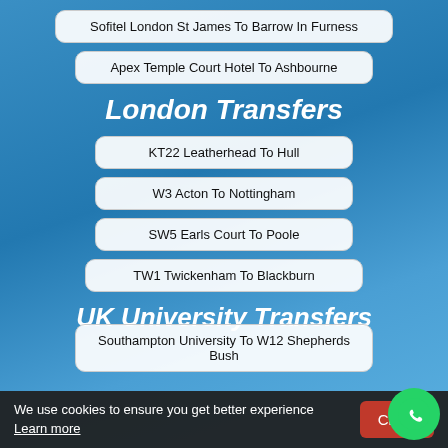Sofitel London St James To Barrow In Furness
Apex Temple Court Hotel To Ashbourne
London Transfers
KT22 Leatherhead To Hull
W3 Acton To Nottingham
SW5 Earls Court To Poole
TW1 Twickenham To Blackburn
UK University Transfers
We use cookies to ensure you get better experience Learn more
Southampton University To W12 Shepherds Bush